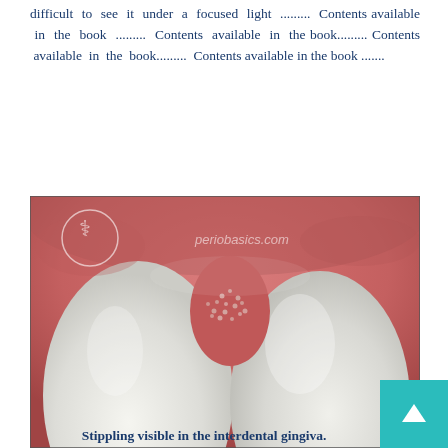difficult to see it under a focused light ......... Contents available in the book ......... Contents available in the book......... Contents available in the book......... Contents available in the book .......
[Figure (photo): Close-up clinical photograph of two upper front teeth with gingiva showing stippling visible in the interdental area. Watermark reads periobasics.com.]
Stippling visible in the interdental gingiva.